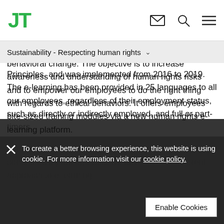JT [logo] [mail icon] [search icon] [menu icon]
Sustainability - Respecting human rights
Principles, and was implemented from 2016 to 2019. The e-learning has been provided in 25 languages to all our employees, regardless of their employment status, such as directly or indirectly employed, and full or part-timers.
In the digital world, where attention spans are short and content easily disregarded, we have taken a different approach to e-learning.
In 2021, we laid the groundwork to launch a digital human rights e-learning campaign which focuses on behavioral change. The objective is to increase awareness and understanding of human rights risks and to empower our employees to do the right thing with regards to ethical behaviors. It offers employees bite-sized training modules via a new human rights e-learning platform.
To create a better browsing experience, this website is using cookie. For more information visit our cookie policy.